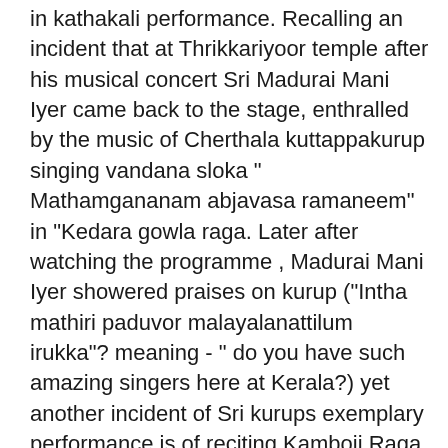in kathakali performance. Recalling an incident that at Thrikkariyoor temple after his musical concert Sri Madurai Mani Iyer came back to the stage, enthralled by the music of Cherthala kuttappakurup singing vandana sloka " Mathamgananam abjavasa ramaneem" in "Kedara gowla raga. Later after watching the programme , Madurai Mani Iyer showered praises on kurup ("Intha mathiri paduvor malayalanattilum irukka"? meaning - " do you have such amazing singers here at Kerala?) yet another incident of Sri kurups exemplary performance is of reciting Kamboji Raga and appreciation received by Rajaratnam pillai (renowned Tamil nadaswaram vidwan) at a Kathakali programme conducted at- Anandasramam in Kollam District while doing a performance. It will not be an overstatement if it is said that most of the young Kathakali musicians of those days except those hailed from Kerala Kalamandalam happened to be his disciple sometime or other.